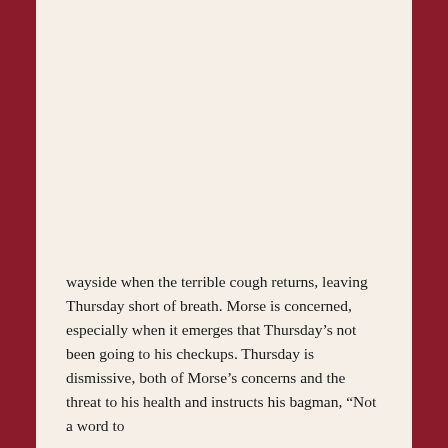wayside when the terrible cough returns, leaving Thursday short of breath. Morse is concerned, especially when it emerges that Thursday's not been going to his checkups. Thursday is dismissive, both of Morse's concerns and the threat to his health and instructs his bagman, “Not a word to